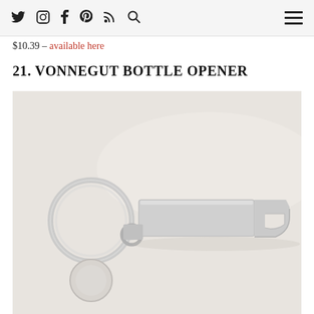Twitter Instagram Facebook Pinterest RSS Search [hamburger menu]
$10.39 – available here
21. VONNEGUT BOTTLE OPENER
[Figure (photo): Close-up photo of a silver metal keychain bottle opener on a light beige/cream background. The opener has a key ring on the left side and a flat rectangular body with a curved hook/opener end on the right.]